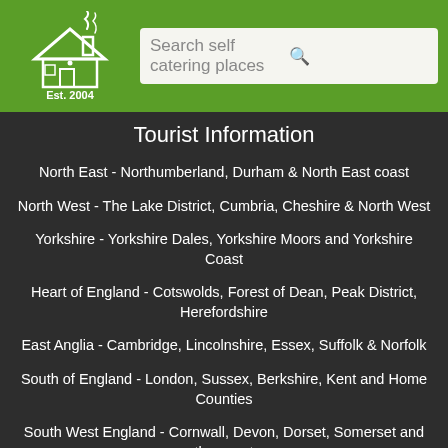[Figure (logo): Self catering cottage logo with house icon and 'Est. 2004' text on green background]
Search self catering places
Tourist Information
North East - Northumberland, Durham & North East coast
North West - The Lake District, Cumbria, Cheshire & North West
Yorkshire - Yorkshire Dales, Yorkshire Moors and Yorkshire Coast
Heart of England - Cotswolds, Forest of Dean, Peak District, Herefordshire
East Anglia - Cambridge, Lincolnshire, Essex, Suffolk & Norfolk
South of England - London, Sussex, Berkshire, Kent and Home Counties
South West England - Cornwall, Devon, Dorset, Somerset and the coast